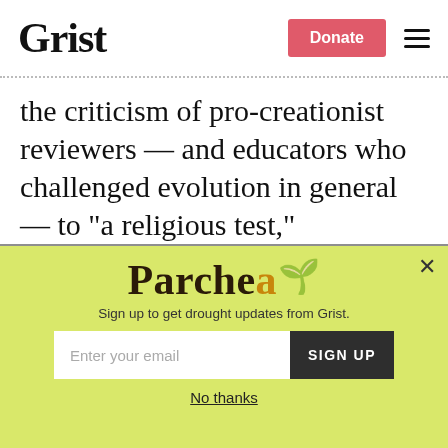Grist
the criticism of pro-creationist reviewers — and educators who challenged evolution in general — to "a religious test," suggesting it was a form of religious discrimination. "That should never happen in a place called the United States of America," Mercer said.
[Figure (screenshot): Parched newsletter signup modal overlay with yellow-green background. Shows 'Parched' logo in large serif bold text, subtitle 'Sign up to get drought updates from Grist.', an email input field with placeholder 'Enter your email', a dark 'SIGN UP' button, and a 'No thanks' underlined link. An X close button appears in the top-right corner.]